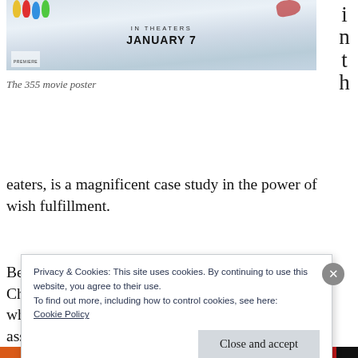[Figure (photo): The 355 movie poster showing colorful balloons at top, with text 'IN THEATERS JANUARY 7' in the center]
The 355 movie poster
in the aters, is a magnificent case study in the power of wish fulfillment.
Before going into that, the movie stars Jessica Chastain as Mason “Mace” Browne, a CIA agent who, when a top-secret weapon goes missing, assembles an international team of fellow
Privacy & Cookies: This site uses cookies. By continuing to use this website, you agree to their use.
To find out more, including how to control cookies, see here:
Cookie Policy
Close and accept